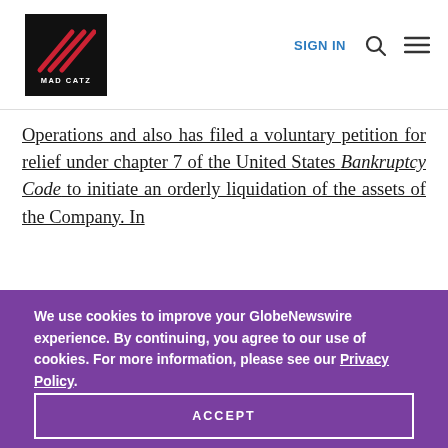[Figure (logo): Mad Catz logo: black square with three diagonal red lines and MAD CATZ text below]
SIGN IN
Operations and also has filed a voluntary petition for relief under chapter 7 of the United States Bankruptcy Code to initiate an orderly liquidation of the assets of the Company. In
We use cookies to improve your GlobeNewswire experience. By continuing, you agree to our use of cookies. For more information, please see our Privacy Policy.
ACCEPT